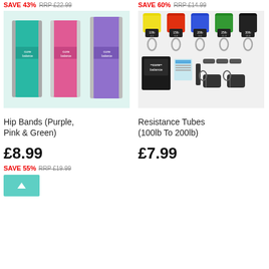SAVE 43% RRP £22.99
SAVE 60% RRP £14.99
[Figure (photo): Three fabric hip resistance bands in green (teal), pink, and purple, with Core Balance branding tags]
[Figure (photo): Resistance tubes set with 5 color-coded tubes (yellow, red, blue, green, black) showing weight labels 10-30lb, plus handles, door anchor, and carrying bag]
Hip Bands (Purple, Pink & Green)
Resistance Tubes (100lb To 200lb)
£8.99
£7.99
SAVE 55% RRP £19.99